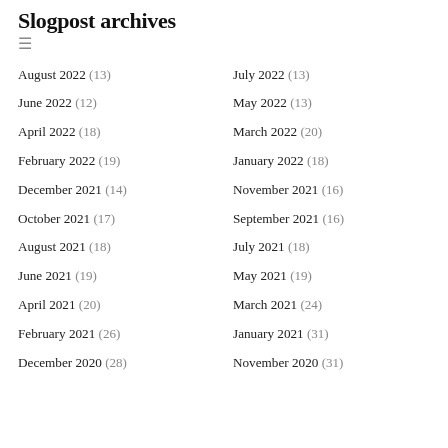Slogpost archives
August 2022 (13)
July 2022 (13)
June 2022 (12)
May 2022 (13)
April 2022 (18)
March 2022 (20)
February 2022 (19)
January 2022 (18)
December 2021 (14)
November 2021 (16)
October 2021 (17)
September 2021 (16)
August 2021 (18)
July 2021 (18)
June 2021 (19)
May 2021 (19)
April 2021 (20)
March 2021 (24)
February 2021 (26)
January 2021 (31)
December 2020 (28)
November 2020 (31)